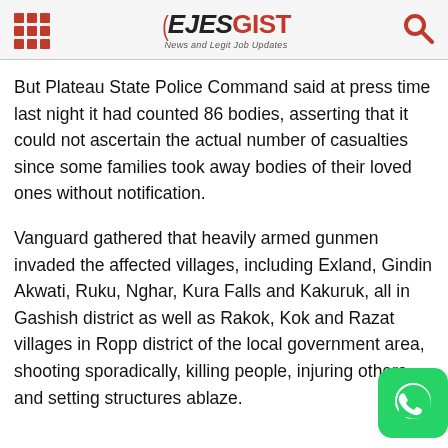EJESGIST News and Legit Job Updates
But Plateau State Police Command said at press time last night it had counted 86 bodies, asserting that it could not ascertain the actual number of casualties since some families took away bodies of their loved ones without notification.
Vanguard gathered that heavily armed gunmen invaded the affected villages, including Exland, Gindin Akwati, Ruku, Nghar, Kura Falls and Kakuruk, all in Gashish district as well as Rakok, Kok and Razat villages in Ropp district of the local government area, shooting sporadically, killing people, injuring others and setting structures ablaze.
[Figure (logo): WhatsApp contact button icon, green rounded square with white phone/chat icon]